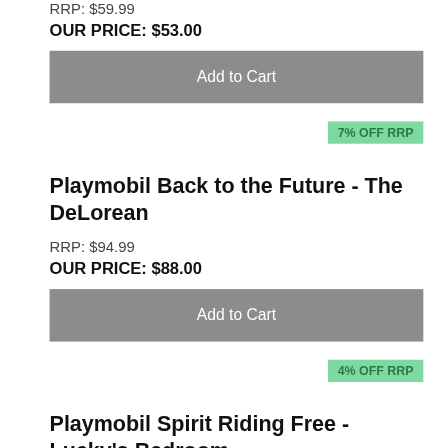RRP: $59.99
OUR PRICE: $53.00
Add to Cart
7% OFF RRP
Playmobil Back to the Future - The DeLorean
RRP: $94.99
OUR PRICE: $88.00
Add to Cart
4% OFF RRP
Playmobil Spirit Riding Free - Lucky's Bedroom
RRP: $49.99
OUR PRICE: $48.00